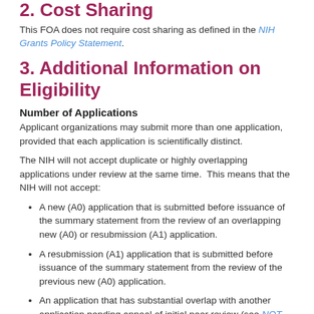2. Cost Sharing
This FOA does not require cost sharing as defined in the NIH Grants Policy Statement.
3. Additional Information on Eligibility
Number of Applications
Applicant organizations may submit more than one application, provided that each application is scientifically distinct.
The NIH will not accept duplicate or highly overlapping applications under review at the same time.  This means that the NIH will not accept:
A new (A0) application that is submitted before issuance of the summary statement from the review of an overlapping new (A0) or resubmission (A1) application.
A resubmission (A1) application that is submitted before issuance of the summary statement from the review of the previous new (A0) application.
An application that has substantial overlap with another application pending appeal of initial peer review (see NOT-OD-11-101).
Section IV. Application and